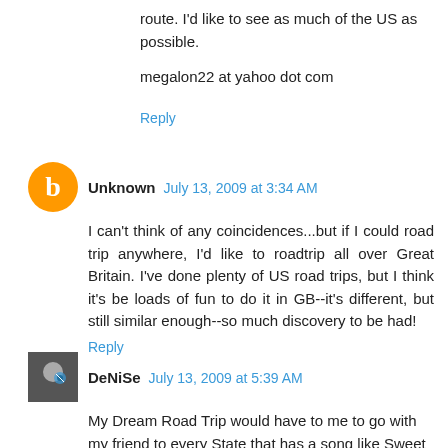route. I'd like to see as much of the US as possible.
megalon22 at yahoo dot com
Reply
Unknown  July 13, 2009 at 3:34 AM
I can't think of any coincidences...but if I could road trip anywhere, I'd like to roadtrip all over Great Britain. I've done plenty of US road trips, but I think it's be loads of fun to do it in GB--it's different, but still similar enough--so much discovery to be had!
Reply
DeNiSe  July 13, 2009 at 5:39 AM
My Dream Road Trip would have to me to go with my friend to every State that has a song like Sweet Home Alabama :) Please Enter ME Denise denise.......330(at).....if(dot)
Reply